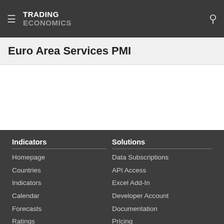TRADING ECONOMICS
Euro Area Services PMI
Indicators
Homepage
Countries
Indicators
Calendar
Forecasts
Ratings
Solutions
Data Subscriptions
API Access
Excel Add-In
Developer Account
Documentation
Pricing
About Us
Customers
Careers
Follow Us
Twitter
App Store